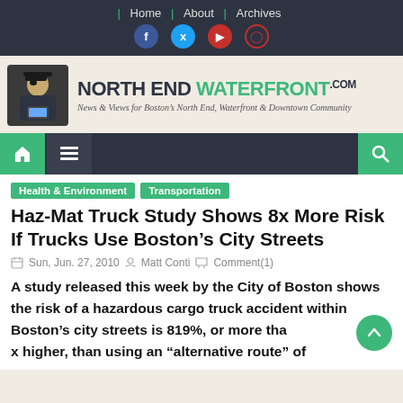Home | About | Archives
[Figure (logo): North End Waterfront .com logo with pirate mascot and tagline: News & Views for Boston's North End, Waterfront & Downtown Community]
Health & Environment | Transportation
Haz-Mat Truck Study Shows 8x More Risk If Trucks Use Boston's City Streets
Sun, Jun. 27, 2010 | Matt Conti | Comment(1)
A study released this week by the City of Boston shows the risk of a hazardous cargo truck accident within Boston's city streets is 819%, or more than 8x higher, than using an "alternative route" of